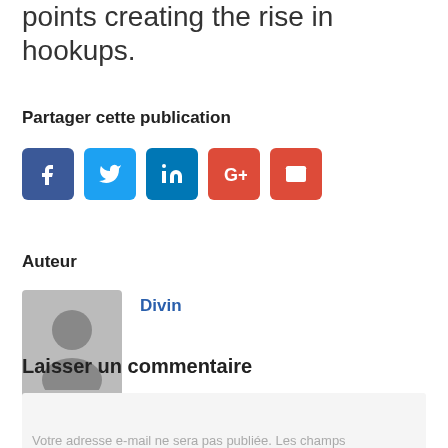points creating the rise in hookups.
Partager cette publication
[Figure (infographic): Social sharing buttons: Facebook (blue), Twitter (light blue), LinkedIn (dark blue), Google+ (red), Email (red)]
Auteur
[Figure (photo): Default grey avatar placeholder image for author Divin]
Divin
Laisser un commentaire
Votre adresse e-mail ne sera pas publiée. Les champs